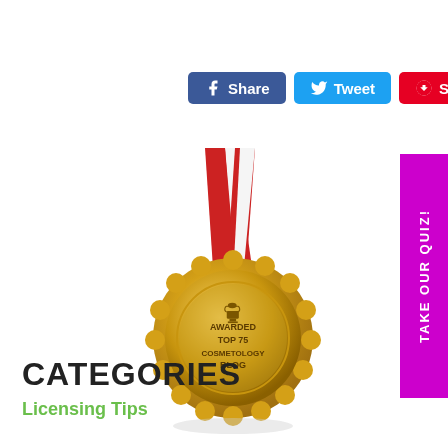[Figure (screenshot): Social share buttons: Facebook Share (blue), Twitter Tweet (light blue), Pinterest Save (red)]
[Figure (illustration): Gold award medal with red and white ribbon, text reads: AWARDED TOP 75 COSMETOLOGY BLOG, with a trophy icon at the top]
[Figure (other): Purple vertical tab on the right side reading TAKE OUR QUIZ!]
CATEGORIES
Licensing Tips